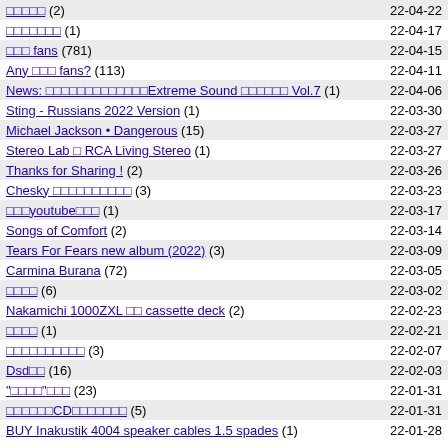□□□□□ (2) 22-04-22
□□□□□□□ (1) 22-04-17
□□□ fans (781) 22-04-15
Any □□□ fans? (113) 22-04-11
News: □□□□□□□□□□□□□Extreme Sound □□□□□□ Vol.7 (1) 22-04-06
Sting - Russians 2022 Version (1) 22-03-30
Michael Jackson • Dangerous (15) 22-03-27
Stereo Lab □ RCA Living Stereo (1) 22-03-27
Thanks for Sharing ! (2) 22-03-26
Chesky □□□□□□□□□□ (3) 22-03-23
□□□youtube□□□ (1) 22-03-17
Songs of Comfort (2) 22-03-14
Tears For Fears new album (2022) (3) 22-03-09
Carmina Burana (72) 22-03-05
□□□□ (6) 22-03-02
Nakamichi 1000ZXL □□ cassette deck (2) 22-02-23
□□□□ (1) 22-02-21
□□□□□□□□□□ (3) 22-02-07
Dsd□□ (16) 22-02-03
"□□□□"□□□ (23) 22-01-31
□□□□□□CD□□□□□□□ (5) 22-01-31
BUY Inakustik 4004 speaker cables 1.5 spades (1) 22-01-28